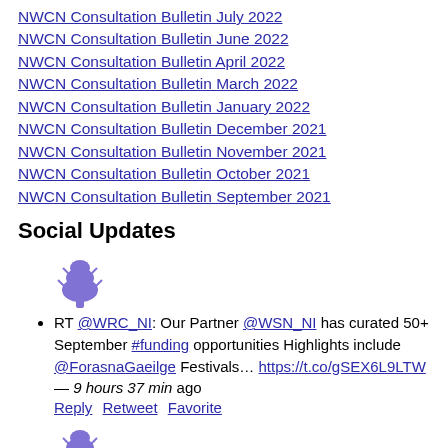NWCN Consultation Bulletin July 2022
NWCN Consultation Bulletin June 2022
NWCN Consultation Bulletin April 2022
NWCN Consultation Bulletin March 2022
NWCN Consultation Bulletin January 2022
NWCN Consultation Bulletin December 2021
NWCN Consultation Bulletin November 2021
NWCN Consultation Bulletin October 2021
NWCN Consultation Bulletin September 2021
Social Updates
RT @WRC_NI: Our Partner @WSN_NI has curated 50+ September #funding opportunities Highlights include @ForasnaGaeilge Festivals… https://t.co/gSEX6L9LTW — 9 hours 37 min ago Reply Retweet Favorite
RT @IbukiTaiko: Get enrolling on this amazing new course of Taiko for Health and wellbeing!! Please share widely!